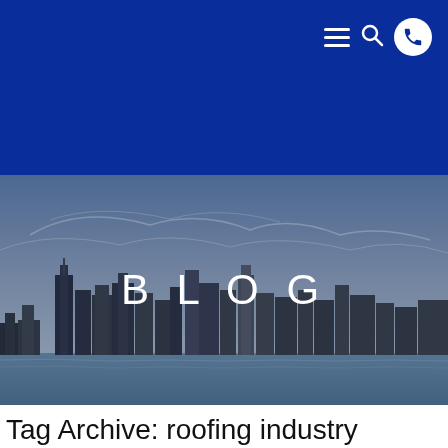[Figure (screenshot): Dark blue navigation bar with hamburger menu, search icon, and phone icon in white circle on the right side]
[Figure (photo): Chicago city skyline with tall skyscrapers reflected on water under a partly cloudy sky, with semi-transparent overlay. The word BLOG is centered in white text over the image.]
Tag Archive: roofing industry in Chi...